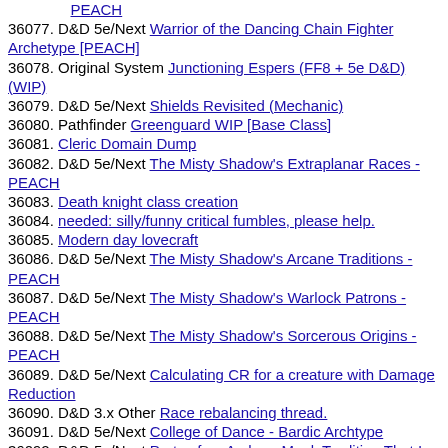PEACH
36077. D&D 5e/Next Warrior of the Dancing Chain Fighter Archetype [PEACH]
36078. Original System Junctioning Espers (FF8 + 5e D&D) (WIP)
36079. D&D 5e/Next Shields Revisited (Mechanic)
36080. Pathfinder Greenguard WIP [Base Class]
36081. Cleric Domain Dump
36082. D&D 5e/Next The Misty Shadow's Extraplanar Races - PEACH
36083. Death knight class creation
36084. needed: silly/funny critical fumbles, please help.
36085. Modern day lovecraft
36086. D&D 5e/Next The Misty Shadow's Arcane Traditions - PEACH
36087. D&D 5e/Next The Misty Shadow's Warlock Patrons - PEACH
36088. D&D 5e/Next The Misty Shadow's Sorcerous Origins - PEACH
36089. D&D 5e/Next Calculating CR for a creature with Damage Reduction
36090. D&D 3.x Other Race rebalancing thread.
36091. D&D 5e/Next College of Dance - Bardic Archtype
36092. D&D 5e/Next Parts of an Archery Monk Tradition That I Scrapped
36093. D&D 5e/Next Sword of X and Y 5e Weapons
36094. D&D 5e/Next Barbarian Primal Path: Path of the Taken
36095. D&D 5e/Next Grandmother Hag (Warlock Patron)
36096. D&D 3.x Class Dragonslayer (fairy tail type) 3.5 PrC
36097. D&D 5e/Next Alchemist Class and 3 Cleric Domains for